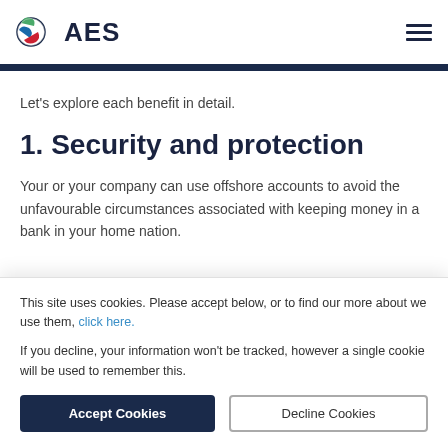[Figure (logo): AES company logo with colorful globe icon and 'AES' text in dark navy]
Let's explore each benefit in detail.
1. Security and protection
Your or your company can use offshore accounts to avoid the unfavourable circumstances associated with keeping money in a bank in your home nation.
This site uses cookies. Please accept below, or to find our more about we use them, click here.
If you decline, your information won't be tracked, however a single cookie will be used to remember this.